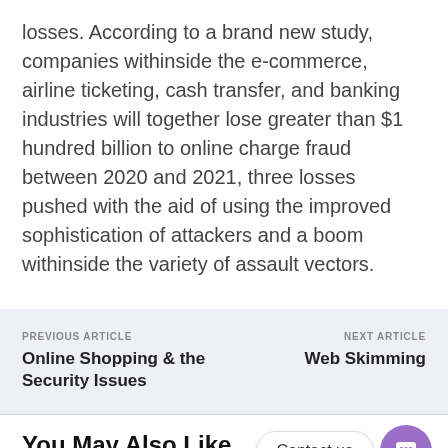losses. According to a brand new study, companies withinside the e-commerce, airline ticketing, cash transfer, and banking industries will together lose greater than $1 hundred billion to online charge fraud between 2020 and 2021, three losses pushed with the aid of using the improved sophistication of attackers and a boom withinside the variety of assault vectors.
PREVIOUS ARTICLE: Online Shopping & the Security Issues | NEXT ARTICLE: Web Skimming
You May Also Like